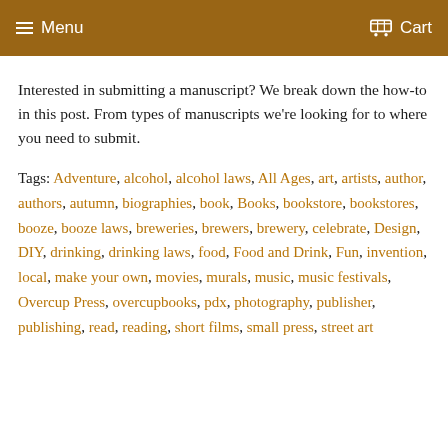Menu  Cart
Interested in submitting a manuscript? We break down the how-to in this post. From types of manuscripts we're looking for to where you need to submit.
Tags: Adventure, alcohol, alcohol laws, All Ages, art, artists, author, authors, autumn, biographies, book, Books, bookstore, bookstores, booze, booze laws, breweries, brewers, brewery, celebrate, Design, DIY, drinking, drinking laws, food, Food and Drink, Fun, invention, local, make your own, movies, murals, music, music festivals, Overcup Press, overcupbooks, pdx, photography, publisher, publishing, read, reading, short films, small press, street art